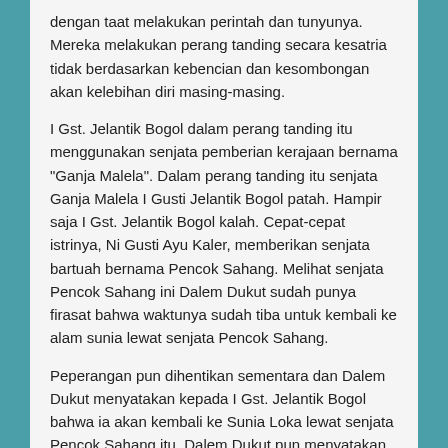dengan taat melakukan perintah dan tunyunya. Mereka melakukan perang tanding secara kesatria tidak berdasarkan kebencian dan kesombongan akan kelebihan diri masing-masing.
I Gst. Jelantik Bogol dalam perang tanding itu menggunakan senjata pemberian kerajaan bernama "Ganja Malela". Dalam perang tanding itu senjata Ganja Malela I Gusti Jelantik Bogol patah. Hampir saja I Gst. Jelantik Bogol kalah. Cepat-cepat istrinya, Ni Gusti Ayu Kaler, memberikan senjata bartuah bernama Pencok Sahang. Melihat senjata Pencok Sahang ini Dalem Dukut sudah punya firasat bahwa waktunya sudah tiba untuk kembali ke alam sunia lewat senjata Pencok Sahang.
Peperangan pun dihentikan sementara dan Dalem Dukut menyatakan kepada I Gst. Jelantik Bogol bahwa ia akan kembali ke Sunia Loka lewat senjata Pencok Sahang itu. Dalem Dukut pun menyatakan menyerahkan segala kekayaan Nusa dengan rakyat dan wong samar-nya untuk mendukung Dalem Klungkung memajukan Klungkung.
Senjata Pencok Sahang ini sesungguhnya adalah taring Naga Basuki. Ketika Ni Gst. Ayu Kaler mandi di Sungai Unda ada sepotong kayu bagaikan kayu bakar atau sahang yang selalu